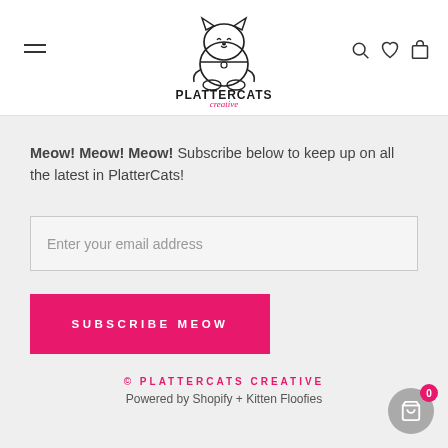[Figure (logo): PlatterCats Creative logo: cartoon cat sitting above bold text PLATTERCATS with italic pink cursive 'creative' below]
Meow! Meow! Meow! Subscribe below to keep up on all the latest in PlatterCats!
Enter your email address
SUBSCRIBE MEOW
© PLATTERCATS CREATIVE
Powered by Shopify + Kitten Floofies